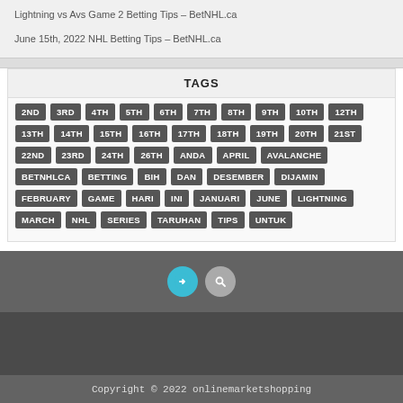Lightning vs Avs Game 2 Betting Tips – BetNHL.ca
June 15th, 2022 NHL Betting Tips – BetNHL.ca
TAGS
2ND 3RD 4TH 5TH 6TH 7TH 8TH 9TH 10TH 12TH 13TH 14TH 15TH 16TH 17TH 18TH 19TH 20TH 21ST 22ND 23RD 24TH 26TH ANDA APRIL AVALANCHE BETNHLCA BETTING BIH DAN DESEMBER DIJAMIN FEBRUARY GAME HARI INI JANUARI JUNE LIGHTNING MARCH NHL SERIES TARUHAN TIPS UNTUK
Copyright © 2022 onlinemarketshopping